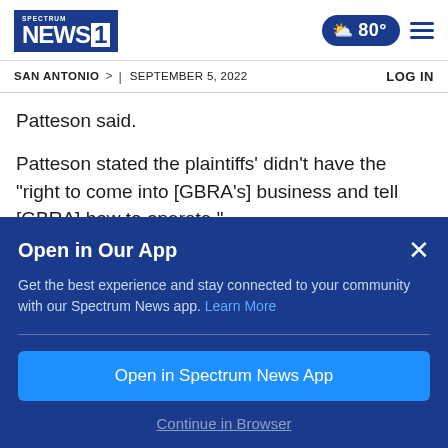Spectrum NEWS1 | SAN ANTONIO > | SEPTEMBER 5, 2022 | LOG IN | 80°
Patteson said.
Patteson stated the plaintiffs' didn't have the "right to come into [GBRA's] business and tell [GBRA] how to operate."
GBRA att...
Open in Our App
Get the best experience and stay connected to your community with our Spectrum News app. Learn More
Open in Spectrum News App
Continue in Browser